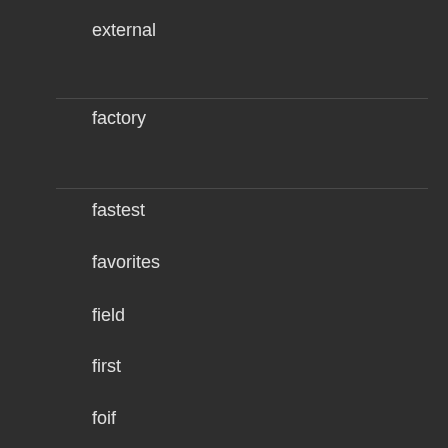external
factory
fastest
favorites
field
first
foif
four
free